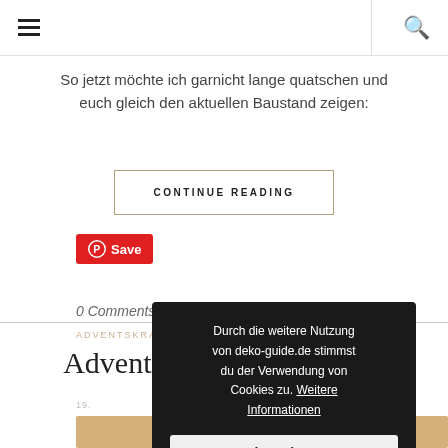☰  🔍
So jetzt möchte ich garnicht lange quatschen und euch gleich den aktuellen Baustand zeigen:
CONTINUE READING
[Figure (other): Red Pinterest Save button with circular P logo]
0 Comments
Adventskranz in Bordeaux
Cookie overlay: Durch die weitere Nutzung von deko-guide.de stimmst du der Verwendung von Cookies zu. Weitere Informationen | Akzeptieren